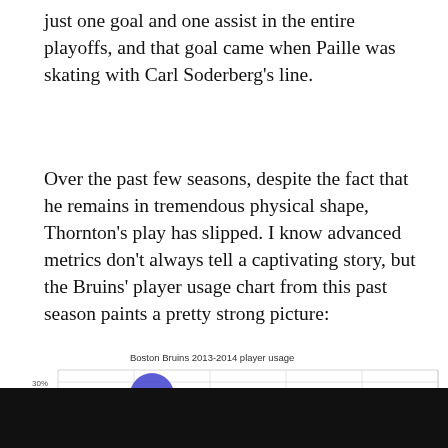just one goal and one assist in the entire playoffs, and that goal came when Paille was skating with Carl Soderberg's line.
Over the past few seasons, despite the fact that he remains in tremendous physical shape, Thornton's play has slipped. I know advanced metrics don't always tell a captivating story, but the Bruins' player usage chart from this past season paints a pretty strong picture:
[Figure (bubble-chart): Bubble chart showing Boston Bruins 2013-2014 player usage with player names labeled on bubbles: Chara (large, dark blue), Bergeron (large, dark blue), Krejci, Marchand, Phan, Smith, Iginla, Lucic (medium, light blue/purple), Boychuk (medium, medium blue). Y-axis shows TOP%, ranging approximately 29% to 30%.]